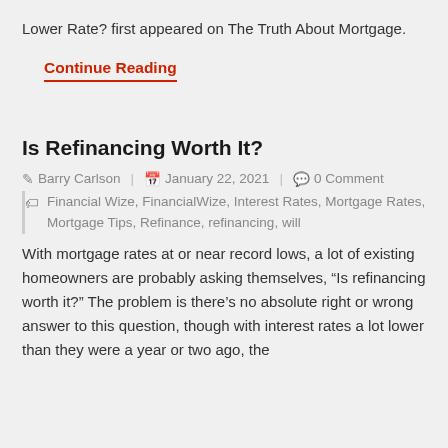Lower Rate? first appeared on The Truth About Mortgage.
Continue Reading
Is Refinancing Worth It?
Barry Carlson | January 22, 2021 | 0 Comment
Financial Wize, FinancialWize, Interest Rates, Mortgage Rates, Mortgage Tips, Refinance, refinancing, will
With mortgage rates at or near record lows, a lot of existing homeowners are probably asking themselves, âIs refinancing worth it?â The problem is thereâটs no absolute right or wrong answer to this question, though with interest rates a lot lower than they were a year or two ago, the